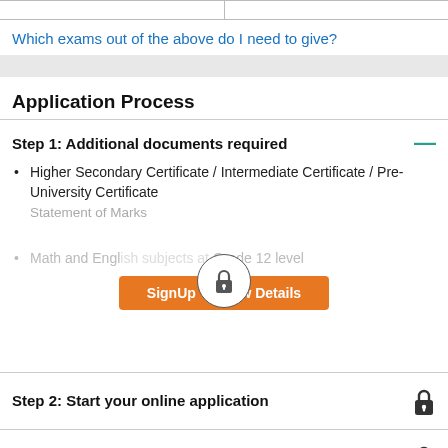|  |  |
| --- | --- |
|  |
Which exams out of the above do I need to give?
Application Process
Step 1: Additional documents required
Higher Secondary Certificate / Intermediate Certificate / Pre-University Certificate
Statement of Marks
Math and English subjects at Grade 12 level
[Figure (other): Orange button: SignUp To View Details, with a lock circle icon overlay above it]
Step 2: Start your online application
Step 3: Application fees for this course